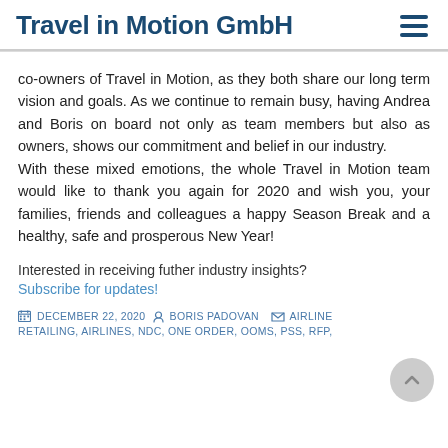Travel in Motion GmbH
co-owners of Travel in Motion, as they both share our long term vision and goals. As we continue to remain busy, having Andrea and Boris on board not only as team members but also as owners, shows our commitment and belief in our industry.
With these mixed emotions, the whole Travel in Motion team would like to thank you again for 2020 and wish you, your families, friends and colleagues a happy Season Break and a healthy, safe and prosperous New Year!
Interested in receiving futher industry insights?
Subscribe for updates!
DECEMBER 22, 2020   BORIS PADOVAN   AIRLINE RETAILING, AIRLINES, NDC, ONE ORDER, OOMS, PSS, RFP,